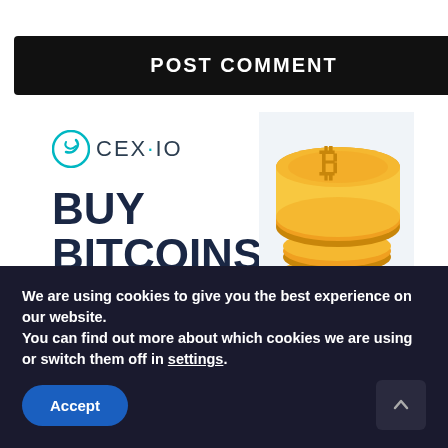POST COMMENT
[Figure (illustration): CEX.IO advertisement banner showing 'BUY BITCOINS' text with teal button on left, stacked golden Bitcoin coins on right with light blue background]
We are using cookies to give you the best experience on our website.
You can find out more about which cookies we are using or switch them off in settings.
Accept